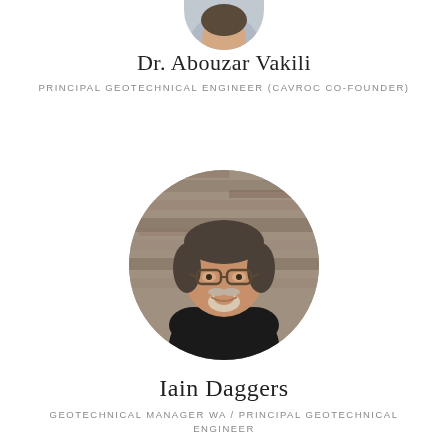[Figure (photo): Partial circular portrait photo of Dr. Abouzar Vakili, cropped at top of page]
Dr. Abouzar Vakili
PRINCIPAL GEOTECHNICAL ENGINEER (CAVROC CO-FOUNDER)
[Figure (photo): Circular portrait photo of Iain Daggers, a middle-aged man with glasses and a grey goatee wearing a black shirt, background is a stone wall]
Iain Daggers
GEOTECHNICAL MANAGER WA / PRINCIPAL GEOTECHNICAL ENGINEER